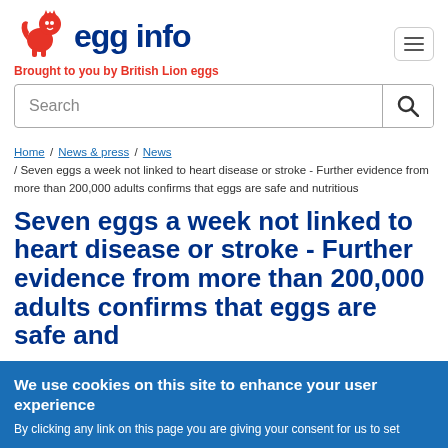[Figure (logo): British Lion eggs red lion logo with 'egg info' text in dark blue, tagline 'Brought to you by British Lion eggs' in red]
Search
Home / News & press / News / Seven eggs a week not linked to heart disease or stroke - Further evidence from more than 200,000 adults confirms that eggs are safe and nutritious
Seven eggs a week not linked to heart disease or stroke - Further evidence from more than 200,000 adults confirms that eggs are safe and
We use cookies on this site to enhance your user experience
By clicking any link on this page you are giving your consent for us to set